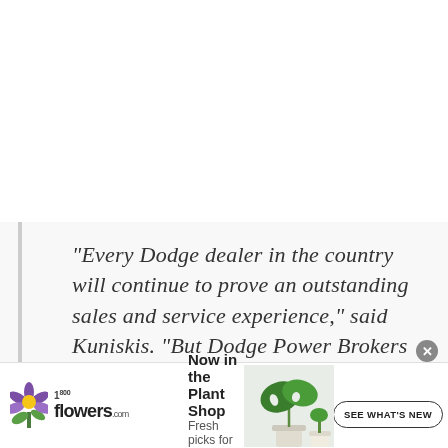“Every Dodge dealer in the country will continue to prove an outstanding sales and service experience,” said Kuniskis. “But Dodge Power Brokers dealers will offer everything an
[Figure (infographic): 1-800-flowers.com advertisement banner with plant shop promotion. Shows logo with green flower icon, '1-800 flowers.com' branding, headline 'Now in the Plant Shop', subheadline 'Fresh picks for summer', a photo of a monstera plant, and a 'SEE WHAT'S NEW' call-to-action button.]